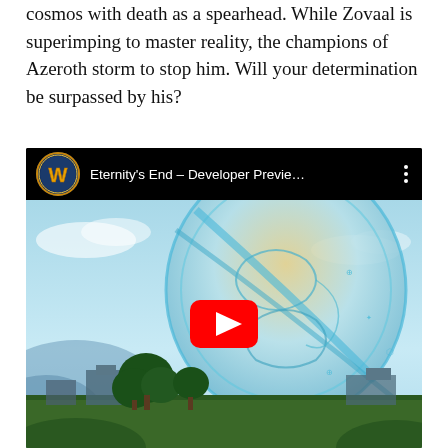cosmos with death as a spearhead. While Zovaal is superimping to master reality, the champions of Azeroth storm to stop him. Will your determination be surpassed by his?
[Figure (screenshot): Embedded YouTube video player showing 'Eternity's End – Developer Previe…' with World of Warcraft logo icon on left, three-dot menu on right, and a game screenshot thumbnail with a large glowing orb structure, trees, and buildings; a red YouTube play button overlaid in the center.]